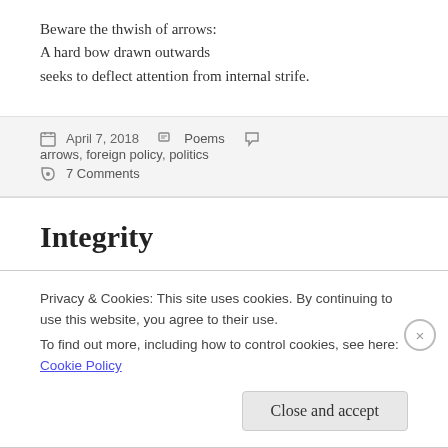Beware the thwish of arrows:
A hard bow drawn outwards
seeks to deflect attention from internal strife.
April 7, 2018  Poems  arrows, foreign policy, politics  7 Comments
Integrity
Privacy & Cookies: This site uses cookies. By continuing to use this website, you agree to their use.
To find out more, including how to control cookies, see here: Cookie Policy
Close and accept